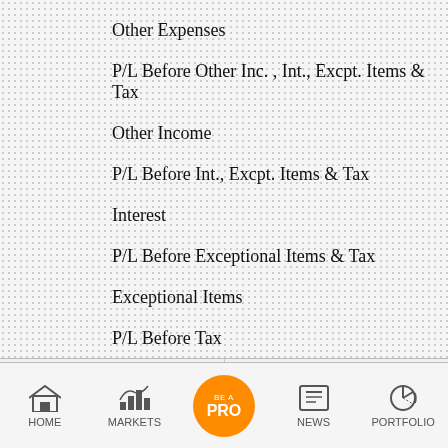Other Expenses
P/L Before Other Inc. , Int., Excpt. Items & Tax
Other Income
P/L Before Int., Excpt. Items & Tax
Interest
P/L Before Exceptional Items & Tax
Exceptional Items
P/L Before Tax
Tax
P/L After Tax from Ordinary Activities
Prior Year Adjustments
Hate speech involving UP CM Yogi Adityanath SC
China's economic caution is a problem for...
HOME  MARKETS  BE A PRO  NEWS  PORTFOLIO